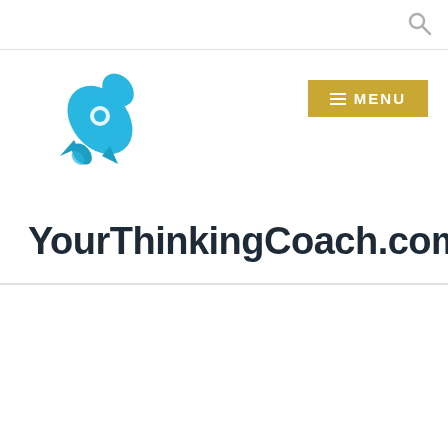[Figure (logo): Search icon (magnifying glass) in top right of header bar]
[Figure (logo): Blue rocket ship logo icon pointing upper-right]
[Figure (logo): Gold/yellow menu button with three horizontal lines and text MENU]
YourThinkingCoach.com